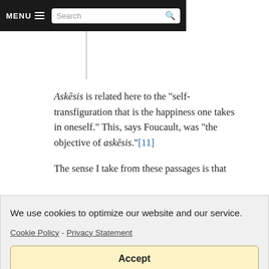[Figure (screenshot): Navigation bar with MENU hamburger icon and Search input box on dark background]
Askēsis is related here to the "self-transfiguration that is the happiness one takes in oneself." This, says Foucault, was "the objective of askēsis."[11]
The sense I take from these passages is that
We use cookies to optimize our website and our service.
Cookie Policy  -  Privacy Statement
Accept
does not reduce: it equips, it provides. [12]